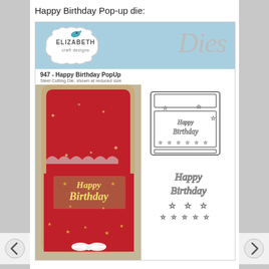Happy Birthday Pop-up die:
[Figure (photo): Product listing image for Elizabeth Craft Designs die #947 - Happy Birthday PopUp. Shows a blue-headered product card with the Elizabeth Craft Designs logo on the left and 'Dies' script on the right. Below the header: '947 - Happy Birthday PopUp' and 'Steel Cutting Die, shown at reduced size'. The main image shows a red pop-up birthday card with 'Happy Birthday' text in gold script, stars, lace detail, and a white bow. To the right are grayscale die-cut images including the pop-up cake box die, the 'Happy Birthday' script die, and star dies.]
[Figure (logo): Elizabeth Craft Designs logo - white cloud/badge shape with teal bird and 'ELIZABETH craft designs' text]